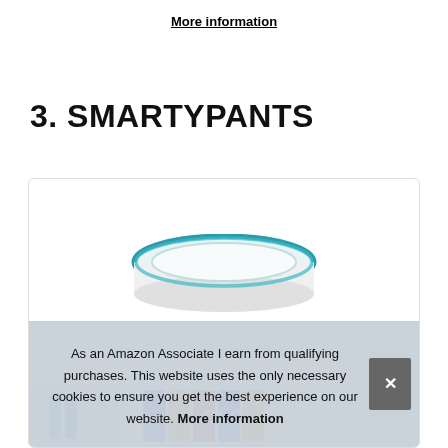More information
3. SMARTYPANTS
[Figure (photo): Product photo of an Amazon Echo Dot device and a colorful product at the bottom of a card with border]
As an Amazon Associate I earn from qualifying purchases. This website uses the only necessary cookies to ensure you get the best experience on our website. More information